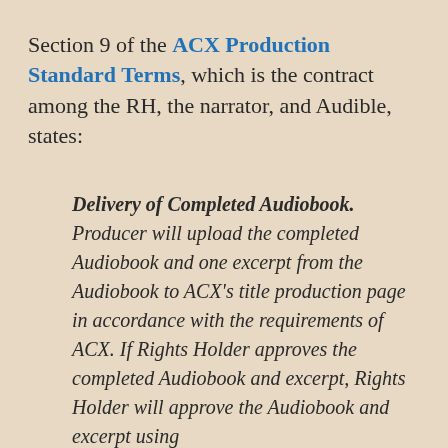Section 9 of the ACX Production Standard Terms, which is the contract among the RH, the narrator, and Audible, states:
Delivery of Completed Audiobook. Producer will upload the completed Audiobook and one excerpt from the Audiobook to ACX's title production page in accordance with the requirements of ACX. If Rights Holder approves the completed Audiobook and excerpt, Rights Holder will approve the Audiobook and excerpt using